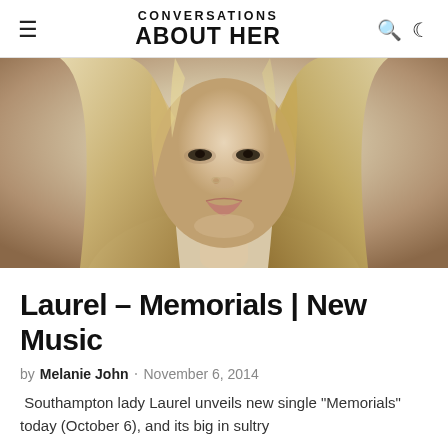CONVERSATIONS ABOUT HER
[Figure (photo): Close-up portrait of a young blonde woman with long hair, looking downward, wearing a nose ring and a delicate necklace, against a light background.]
Laurel – Memorials | New Music
by Melanie John · November 6, 2014
Southampton lady Laurel unveils new single "Memorials" today (October 6), and its big in sultry